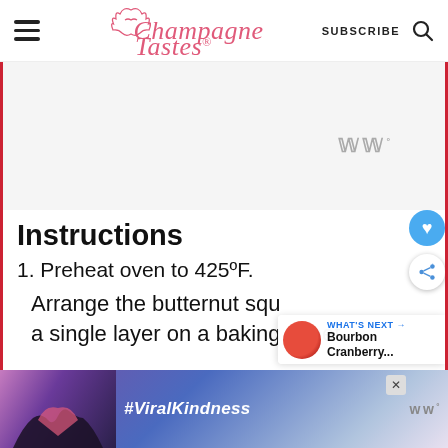ChampagneTastes® — SUBSCRIBE
[Figure (screenshot): Large white ad placeholder area with a small Whisk (ww°) logo watermark in gray]
Instructions
1. Preheat oven to 425ºF.
Arrange the butternut squ... a single layer on a baking sheet.
[Figure (photo): Bottom ad banner showing hands forming a heart shape with #ViralKindness text overlay, with a close (X) button]